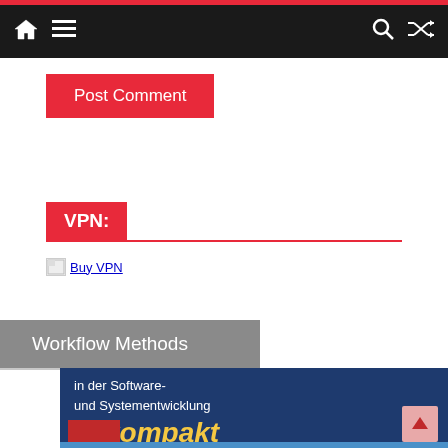Navigation bar with home, menu, search, and shuffle icons
Post Comment
VPN:
[Figure (other): Buy VPN broken image link]
Workflow Methods
[Figure (illustration): Book cover showing 'in der Software- und Systementwicklung kompakt' with dark blue background, yellow italic 'kompakt' text, and red decorative box]